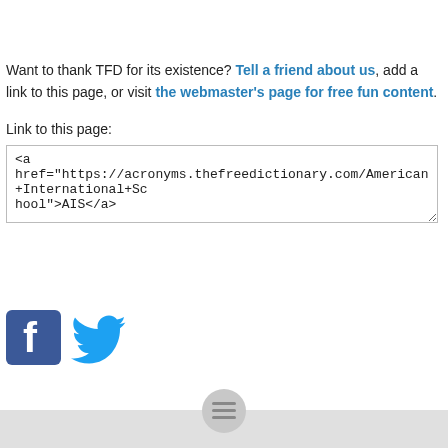Want to thank TFD for its existence? Tell a friend about us, add a link to this page, or visit the webmaster's page for free fun content.
Link to this page:
<a href="https://acronyms.thefreedictionary.com/American+International+School">AIS</a>
[Figure (logo): Facebook and Twitter social media icons]